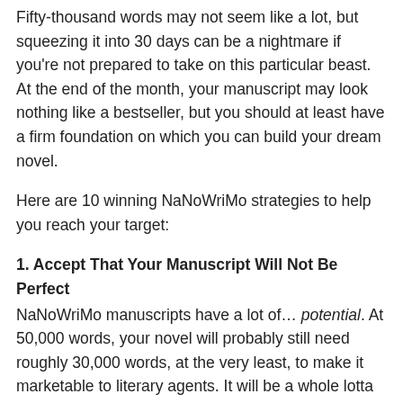Fifty-thousand words may not seem like a lot, but squeezing it into 30 days can be a nightmare if you're not prepared to take on this particular beast. At the end of the month, your manuscript may look nothing like a bestseller, but you should at least have a firm foundation on which you can build your dream novel.
Here are 10 winning NaNoWriMo strategies to help you reach your target:
1. Accept That Your Manuscript Will Not Be Perfect
NaNoWriMo manuscripts have a lot of… potential. At 50,000 words, your novel will probably still need roughly 30,000 words, at the very least, to make it marketable to literary agents. It will be a whole lotta rough, with a few diamonds buried deep inside it, and you will still have weeks of editing and re-writing and re-editing ahead of